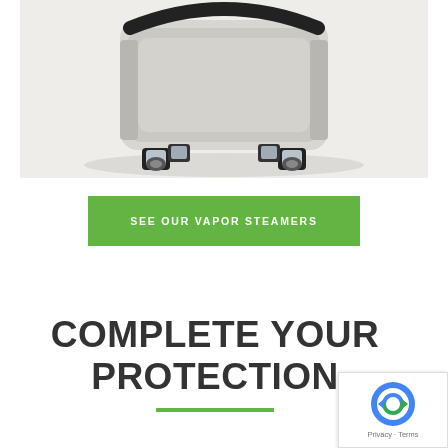[Figure (photo): A vapor steamer device shown from below at an angle, with a light beige/gray rectangular body and four chrome caster wheels. White/light gray background.]
SEE OUR VAPOR STEAMERS
COMPLETE YOUR PROTECTION
[Figure (other): reCAPTCHA badge with Google reCAPTCHA logo and 'Privacy - Terms' text]